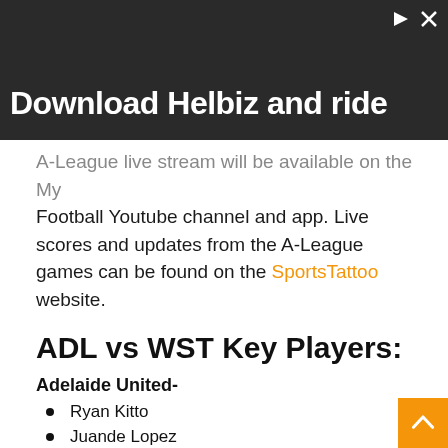[Figure (photo): Advertisement banner with dark background showing a bicycle handlebar/scooter, with text 'Download Helbiz and ride' and ad icons in top right corner]
A-League live stream will be available on the My Football Youtube channel and app. Live scores and updates from the A-League games can be found on the SportsTattoo website.
ADL vs WST Key Players:
Adelaide United-
Ryan Kitto
Juande Lopez
Hiroshi Ibusuki
Joe Gauci
Javi Lopez